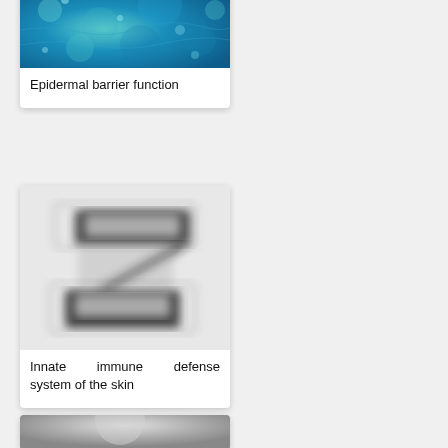[Figure (photo): Blue-green microscopic image of epidermal barrier (partial, top of card cut off)]
Epidermal barrier function
[Figure (illustration): Black and white blurred Z-shape or lightning bolt pattern representing innate immune defense system of the skin]
Innate immune defense system of the skin
[Figure (photo): Gray-scale microscopic image (partially visible at bottom of page)]